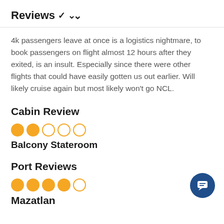Reviews ∨
4k passengers leave at once is a logistics nightmare, to book passengers on flight almost 12 hours after they exited, is an insult. Especially since there were other flights that could have easily gotten us out earlier. Will likely cruise again but most likely won't go NCL.
Cabin Review
[Figure (other): 2 out of 5 stars rating shown as filled and empty orange circles]
Balcony Stateroom
Port Reviews
[Figure (other): 4 out of 5 stars rating shown as filled and empty orange circles]
Mazatlan